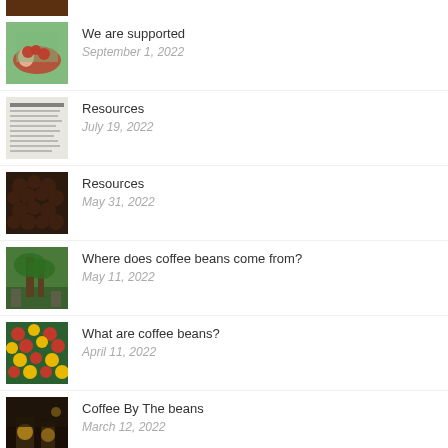We are supported | September 1, 2022
Resources | July 19, 2022
Resources | May 31, 2022
Where does coffee beans come from? | May 11, 2022
What are coffee beans? | April 11, 2022
Coffee By The beans | March 12, 2022
coffee bean scientific name | February 10, 2022
single coffee bean